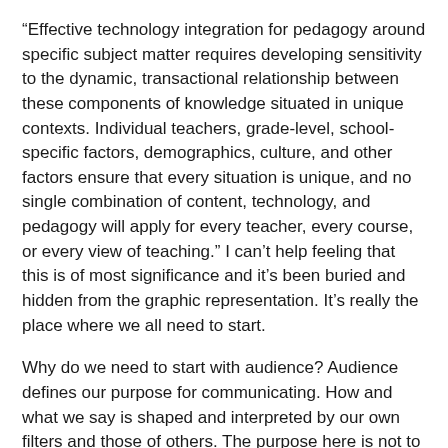“Effective technology integration for pedagogy around specific subject matter requires developing sensitivity to the dynamic, transactional relationship between these components of knowledge situated in unique contexts. Individual teachers, grade-level, school-specific factors, demographics, culture, and other factors ensure that every situation is unique, and no single combination of content, technology, and pedagogy will apply for every teacher, every course, or every view of teaching.” I can’t help feeling that this is of most significance and it’s been buried and hidden from the graphic representation. It’s really the place where we all need to start.
Why do we need to start with audience? Audience defines our purpose for communicating. How and what we say is shaped and interpreted by our own filters and those of others. The purpose here is not to strip away at those filters to create a uniform equalization. It’s to acknowledge that the filters create a unique perspective. This is personalization.